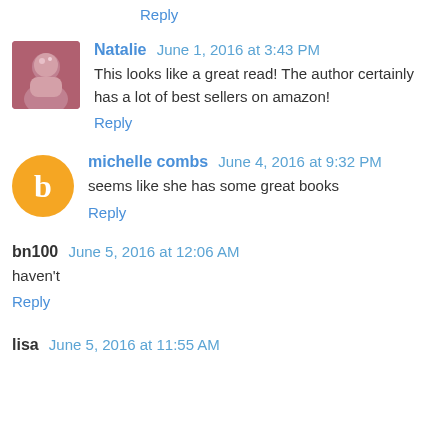Reply
Natalie  June 1, 2016 at 3:43 PM
This looks like a great read! The author certainly has a lot of best sellers on amazon!
Reply
michelle combs  June 4, 2016 at 9:32 PM
seems like she has some great books
Reply
bn100  June 5, 2016 at 12:06 AM
haven't
Reply
lisa  June 5, 2016 at 11:55 AM